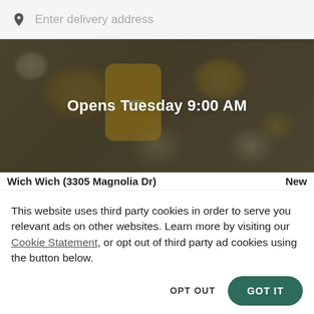Enter delivery address
[Figure (photo): Food/snack product photo with chips bag (CHIPS brand visible) and various snack items on a surface, overlaid with a dark tint]
Opens Tuesday 9:00 AM
Wich Wich (3305 Magnolia Dr)   New
This website uses third party cookies in order to serve you relevant ads on other websites. Learn more by visiting our Cookie Statement, or opt out of third party ad cookies using the button below.
OPT OUT
GOT IT